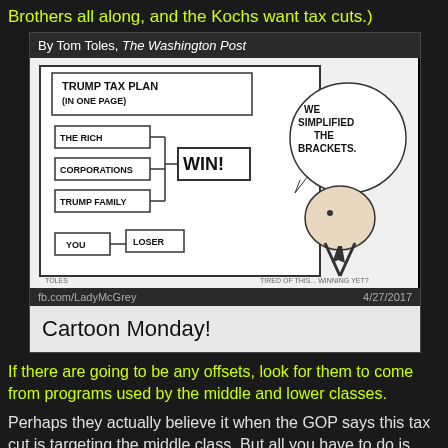Brothers all along, and the Kochs want tax cuts.)
[Figure (illustration): Political cartoon by Tom Toles for The Washington Post showing a bracket-style tournament chart labeled 'TRUMP TAX PLAN (IN ONE PAGE)' where THE RICH, CORPORATIONS, and TRUMP FAMILY all advance to WIN!, while YOU goes to LOSER. A caricature figure says 'WE SIMPLIFIED THE BRACKETS.' Caption at bottom: 'Cartoon Monday!' Source URL: fb.com/LadyMcGrey, Date: 4/27/2017]
If there are going to be any offsets, look for them to come from programs used by the middle and lower classes.
Perhaps they actually believe it when the GOP says this tax cut is targeting the middle class. But all you have to do is